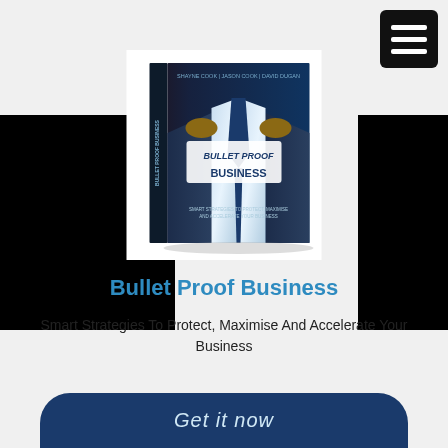[Figure (illustration): Hamburger/menu icon button in black rounded square at top right]
[Figure (photo): Book cover of 'Bullet Proof Business' by Shayne Cook, Jason Cook, David Dugan, showing a man opening his shirt to reveal the book title, with subtitle 'Smart Strategies To Protect, Maximise And Accelerate Your Business']
Bullet Proof Business
Smart Strategies To Protect, Maximise And Accelerate Your Business
Get it now